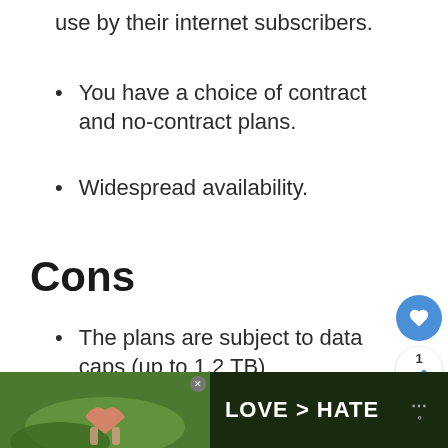use by their internet subscribers.
You have a choice of contract and no-contract plans.
Widespread availability.
Cons
The plans are subject to data caps (up to 1.2 TB)
Snail upload speeds (although download speeds are respectably